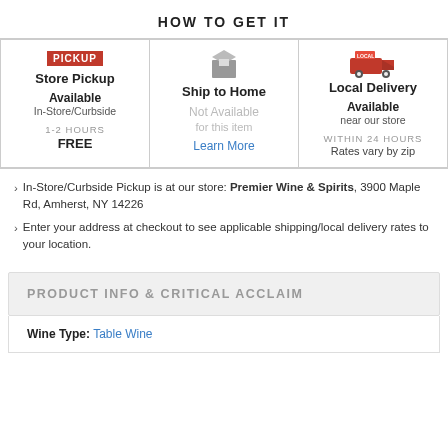HOW TO GET IT
| Store Pickup | Ship to Home | Local Delivery |
| --- | --- | --- |
| Available
In-Store/Curbside
1-2 HOURS
FREE | Not Available
for this item
Learn More | Available
near our store
WITHIN 24 HOURS
Rates vary by zip |
In-Store/Curbside Pickup is at our store: Premier Wine & Spirits, 3900 Maple Rd, Amherst, NY 14226
Enter your address at checkout to see applicable shipping/local delivery rates to your location.
PRODUCT INFO & CRITICAL ACCLAIM
Wine Type: Table Wine